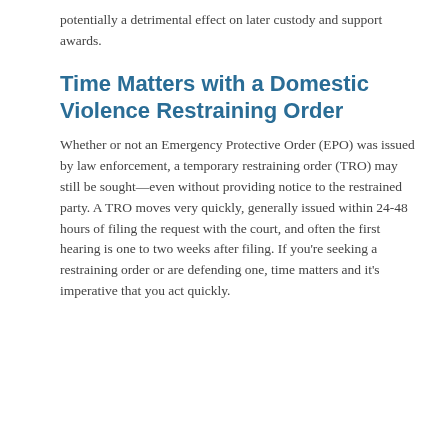potentially a detrimental effect on later custody and support awards.
Time Matters with a Domestic Violence Restraining Order
Whether or not an Emergency Protective Order (EPO) was issued by law enforcement, a temporary restraining order (TRO) may still be sought—even without providing notice to the restrained party. A TRO moves very quickly, generally issued within 24-48 hours of filing the request with the court, and often the first hearing is one to two weeks after filing. If you're seeking a restraining order or are defending one, time matters and it's imperative that you act quickly.